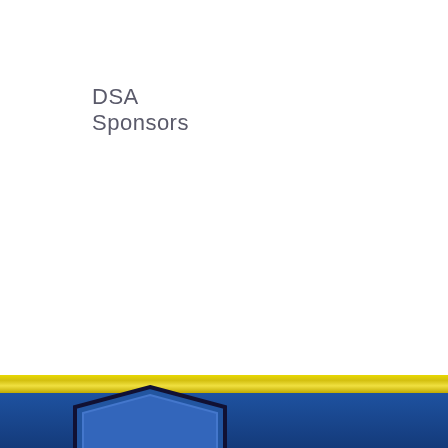DSA Sponsors
[Figure (logo): Yellow horizontal bar above a blue footer band with a partial shield/logo graphic visible at the bottom center-left]